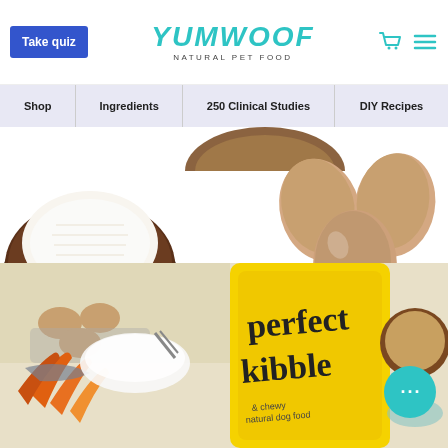Take quiz | YUMWOOF NATURAL PET FOOD | (cart) (menu)
Shop | Ingredients | 250 Clinical Studies | DIY Recipes
[Figure (photo): Half coconut showing white flesh interior on white background]
[Figure (photo): Three brown eggs on white background]
[Figure (photo): Yumwoof Perfect Kibble dog food product bag (yellow) surrounded by fresh ingredients: carrots, fish, eggs, oats, coconut]
[Figure (other): Teal chat support bubble with ellipsis dots]